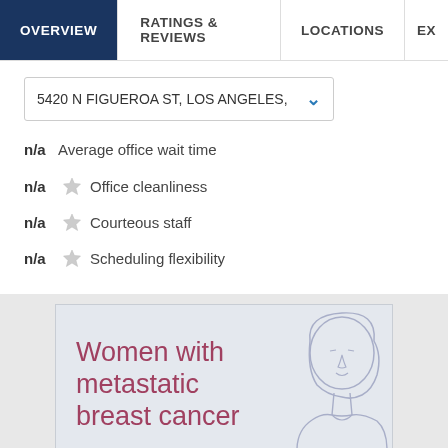OVERVIEW | RATINGS & REVIEWS | LOCATIONS | EX
5420 N FIGUEROA ST, LOS ANGELES,
n/a Average office wait time
n/a ☆ Office cleanliness
n/a ☆ Courteous staff
n/a ☆ Scheduling flexibility
[Figure (illustration): Advertisement for women with metastatic breast cancer featuring an outline illustration of a woman's face and upper body on a light gray background with mauve/pink text.]